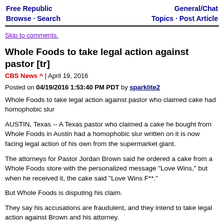Free Republic Browse · Search | General/Chat Topics · Post Article
Skip to comments.
Whole Foods to take legal action against pastor [tr]
CBS News ^ | April 19, 2016
Posted on 04/19/2016 1:53:40 PM PDT by sparklite2
Whole Foods to take legal action against pastor who claimed cake had homophobic slur
AUSTIN, Texas -- A Texas pastor who claimed a cake he bought from Whole Foods in Austin had a homophobic slur written on it is now facing legal action of his own from the supermarket giant.
The attorneys for Pastor Jordan Brown said he ordered a cake from a Whole Foods store with the personalized message "Love Wins," but when he received it, the cake said "Love Wins F**."
But Whole Foods is disputing his claim.
They say his accusations are fraudulent, and they intend to take legal action against Brown and his attorney.